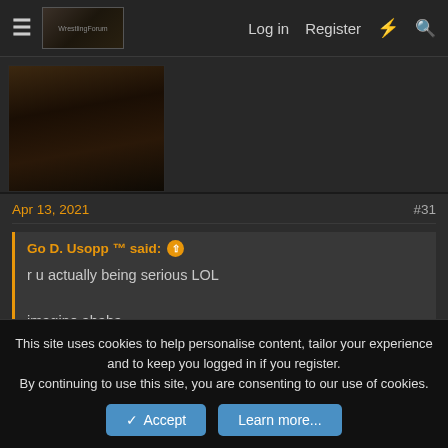Log in  Register
[Figure (screenshot): Forum user avatar showing a person with tattoos on their back]
Apr 13, 2021   #31
Go D. Usopp ™ said: ↑
r u actually being serious LOL
imagine ahaha
i'm always serious
👍 Kurozumi Kekkologix and AL sama
This site uses cookies to help personalise content, tailor your experience and to keep you logged in if you register.
By continuing to use this site, you are consenting to our use of cookies.